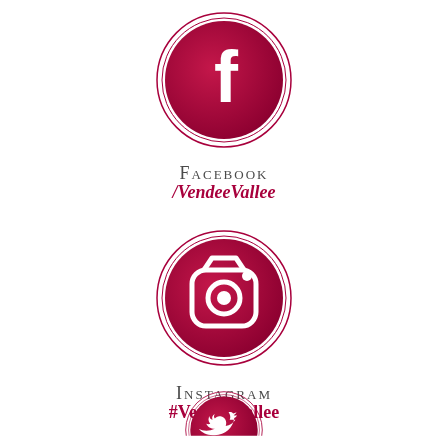[Figure (logo): Facebook circular logo in dark red/crimson gradient with white Facebook 'f' icon, surrounded by double ring border]
FACEBOOK
/VendeeVallee
[Figure (logo): Instagram circular logo in dark red/crimson gradient with white camera icon, surrounded by double ring border]
INSTAGRAM
#VendeeVallee
[Figure (logo): Twitter circular logo in dark red/crimson gradient with white bird icon, surrounded by double ring border, partially cut off at bottom]